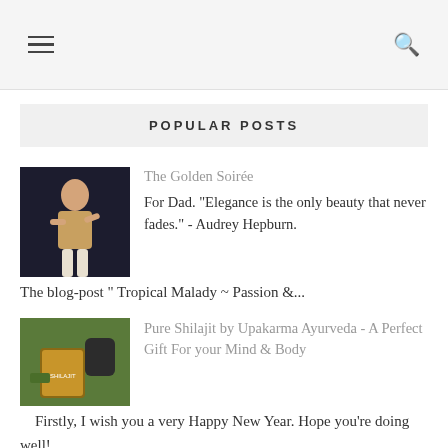☰  🔍
POPULAR POSTS
[Figure (photo): Photo of a woman in traditional Indian dance/fashion attire against a dark background]
The Golden Soirée
For Dad. "Elegance is the only beauty that never fades." - Audrey Hepburn. The blog-post " Tropical Malady ~ Passion &...
[Figure (photo): Photo of Shilajit product by Upakarma Ayurveda with natural ingredients]
Pure Shilajit by Upakarma Ayurveda - A Perfect Gift For your Mind & Body
Firstly, I wish you a very Happy New Year. Hope you're doing well!